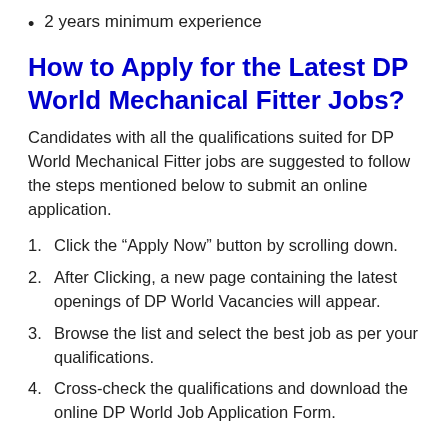2 years minimum experience
How to Apply for the Latest DP World Mechanical Fitter Jobs?
Candidates with all the qualifications suited for DP World Mechanical Fitter jobs are suggested to follow the steps mentioned below to submit an online application.
1. Click the “Apply Now” button by scrolling down.
2. After Clicking, a new page containing the latest openings of DP World Vacancies will appear.
3. Browse the list and select the best job as per your qualifications.
4. Cross-check the qualifications and download the online DP World Job Application Form.